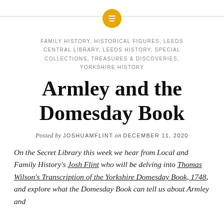[Figure (logo): Gold circle icon with horizontal lines (menu/list icon) centered on a horizontal rule]
FAMILY HISTORY, HISTORICAL FIGURES, LEEDS CENTRAL LIBRARY, LEEDS HISTORY, SPECIAL COLLECTIONS, TREASURES & DISCOVERIES, YORKSHIRE HISTORY
Armley and the Domesday Book
Posted by JOSHUAMFLINT on DECEMBER 11, 2020
On the Secret Library this week we hear from Local and Family History's Josh Flint who will be delving into Thomas Wilson's Transcription of the Yorkshire Domesday Book, 1748, and explore what the Domesday Book can tell us about Armley and